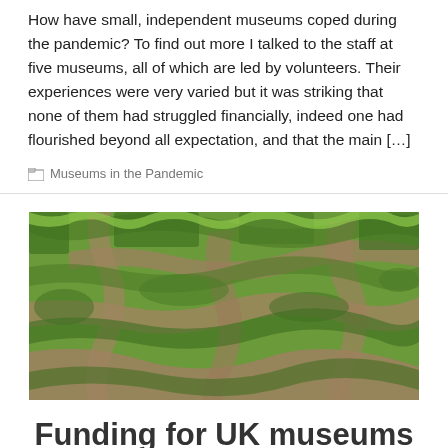How have small, independent museums coped during the pandemic? To find out more I talked to the staff at five museums, all of which are led by volunteers. Their experiences were very varied but it was striking that none of them had struggled financially, indeed one had flourished beyond all expectation, and that the main […]
Museums in the Pandemic
[Figure (photo): Aerial view of a green hedge maze/labyrinth with winding pathways]
Funding for UK museums